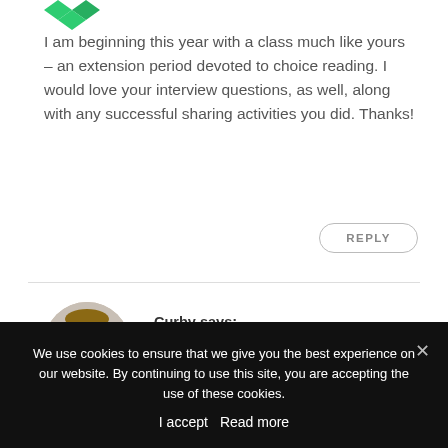[Figure (logo): Green diamond/chevron logo icon at top left]
I am beginning this year with a class much like yours – an extension period devoted to choice reading. I would love your interview questions, as well, along with any successful sharing activities you did. Thanks!
REPLY
[Figure (photo): Circular avatar photo of Curby, a smiling man in a suit]
Curby says:
May 9, 2019
We use cookies to ensure that we give you the best experience on our website. By continuing to use this site, you are accepting the use of these cookies.
I accept  Read more